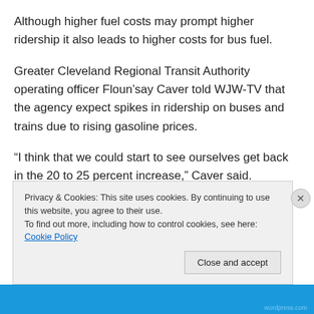Although higher fuel costs may prompt higher ridership it also leads to higher costs for bus fuel.
Greater Cleveland Regional Transit Authority operating officer Floun’say Caver told WJW-TV that the agency expect spikes in ridership on buses and trains due to rising gasoline prices.
“I think that we could start to see ourselves get back in the 20 to 25 percent increase,” Caver said.
That would go a long way toward helping RTA regain
Privacy & Cookies: This site uses cookies. By continuing to use this website, you agree to their use.
To find out more, including how to control cookies, see here: Cookie Policy
Close and accept